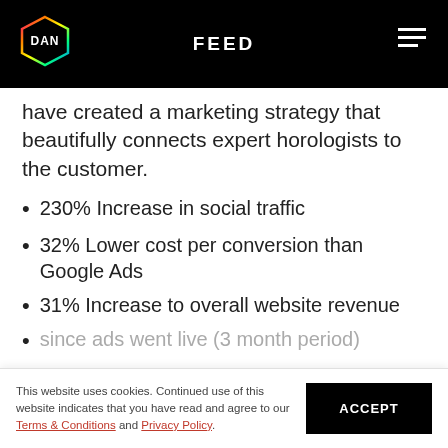FEED
have created a marketing strategy that beautifully connects expert horologists to the customer.
230% Increase in social traffic
32% Lower cost per conversion than Google Ads
31% Increase to overall website revenue
since ads went live (3 month period)
This website uses cookies. Continued use of this website indicates that you have read and agree to our Terms & Conditions and Privacy Policy.